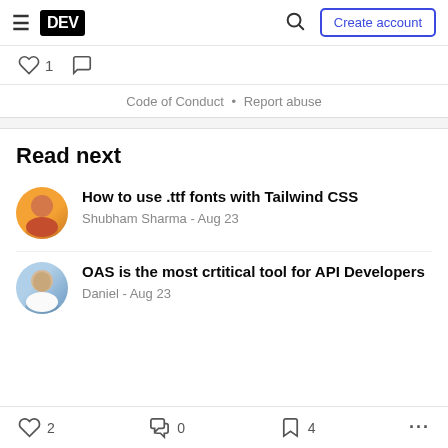DEV - Create account
♡ 1  ○
Code of Conduct • Report abuse
Read next
How to use .ttf fonts with Tailwind CSS
Shubham Sharma - Aug 23
OAS is the most crtitical tool for API Developers
Daniel - Aug 23
♡ 2   0   4   ...